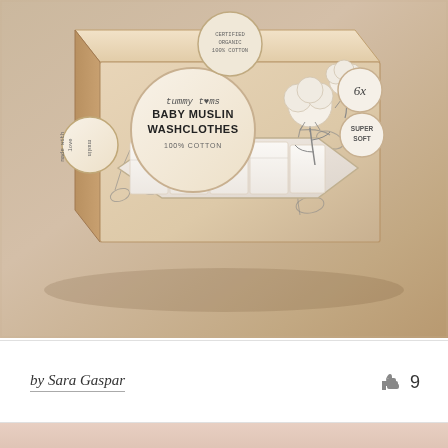[Figure (photo): Product photo of 'tummy toms Baby Muslin Washclothes 100% cotton' kraft cardboard packaging box with cotton flower illustrations, showing 6 white folded muslin cloths visible through a die-cut window. Box features circular labels: main label with brand and product name, quantity badge showing '6x', and 'Super Soft' badge. Set against a warm beige/tan gradient background.]
by Sara Gaspar
9
[Figure (photo): Partial view of a second product image with a light pinkish-beige background, cropped at bottom of page.]